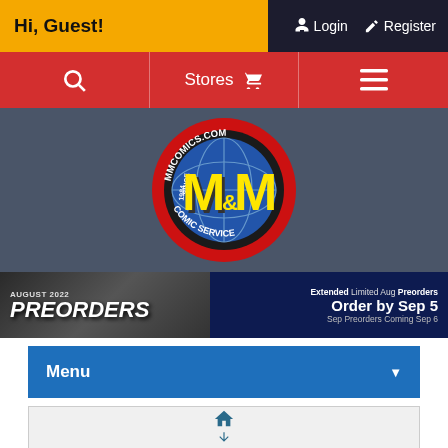Hi, Guest!
Login  Register
[Figure (screenshot): Red navigation bar with search icon, Stores with cart icon, and hamburger menu icon]
[Figure (logo): M&M Comic Service logo — circular red badge with yellow M&M letters, globe graphic, text MMCOMICS.COM and SINCE 1984 and COMIC SERVICE]
[Figure (screenshot): August 2022 Preorders banner with comic book covers, Extended Limited Aug Preorders Order by Sep 5, Sep Preorders Coming Sep 6]
Menu ▼
[Figure (screenshot): Home icon and down arrow icon with Search label below]